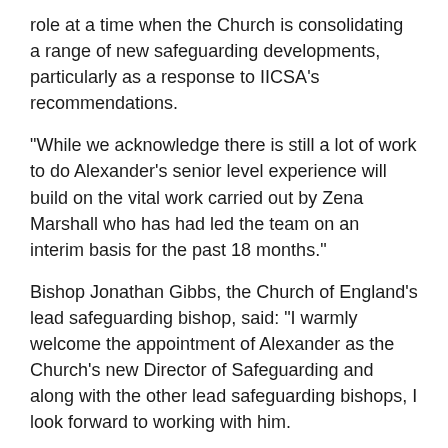role at a time when the Church is consolidating a range of new safeguarding developments, particularly as a response to IICSA's recommendations.
“While we acknowledge there is still a lot of work to do Alexander’s senior level experience will build on the vital work carried out by Zena Marshall who has had led the team on an interim basis for the past 18 months.”
Bishop Jonathan Gibbs, the Church of England’s lead safeguarding bishop, said: “I warmly welcome the appointment of Alexander as the Church’s new Director of Safeguarding and along with the other lead safeguarding bishops, I look forward to working with him.
“His experience will provide continuing strong leadership of the National Safeguarding Team at a time of increasing demand and scrutiny.
“While there have been many safeguarding improvements in the past few years, we must be mindful we have not responded well to survivors and victims and that must be our priority.
“I would also like to thank Zena Marshall for her professional